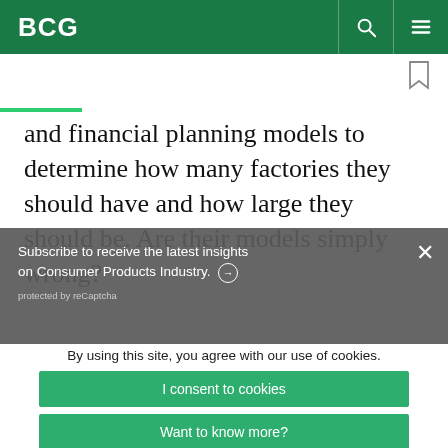BCG
and financial planning models to determine how many factories they should have and how large they should be. Are their models simply wrong?
Subscribe to receive the latest insights on Consumer Products Industry. ➜
protected by reCaptcha
By using this site, you agree with our use of cookies.
I consent to cookies
Want to know more?
Read our Cookie Policy